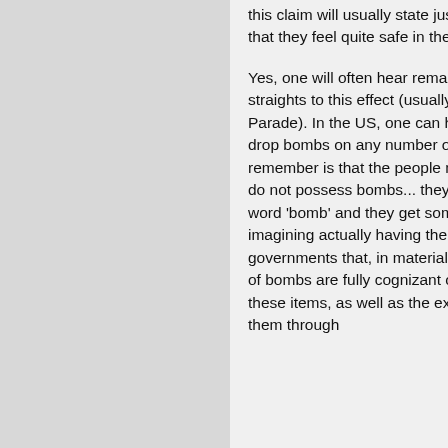this claim will usually state just as authoritatively that they feel quite safe in their current countries.

Yes, one will often hear remarks from individual straights to this effect (usually in regards to a Pride Parade). In the US, one can hear the suggestion to drop bombs on any number of people. The thing to remember is that the people making these remarks do not possess bombs... they only possess the word 'bomb' and they get some sad little thrill out of imagining actually having the real thing. The governments that, in material reality, are possessed of bombs are fully cognizant of the expense of these items, as well as the expense of transporting them through